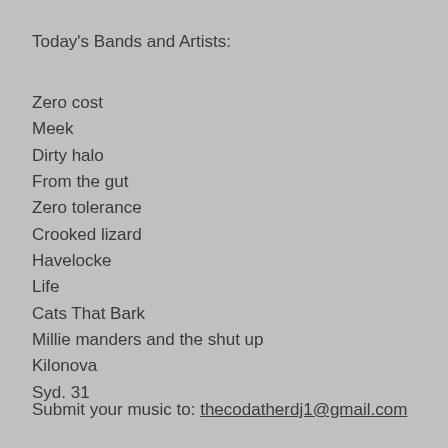Today's Bands and Artists:
Zero cost
Meek
Dirty halo
From the gut
Zero tolerance
Crooked lizard
Havelocke
Life
Cats That Bark
Millie manders and the shut up
Kilonova
Syd. 31
Submit your music to: thecodatherdj1@gmail.com